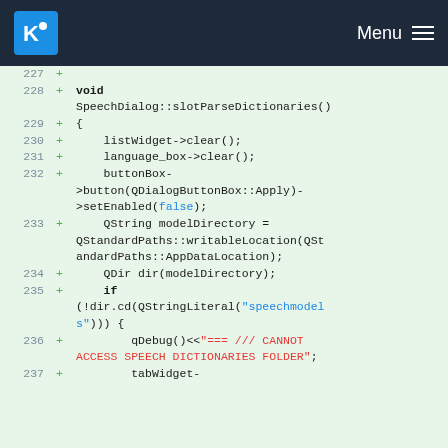KDE Menu
Code diff showing lines 227-237 of a C++ source file with SpeechDialog::slotParseDictionaries() function implementation